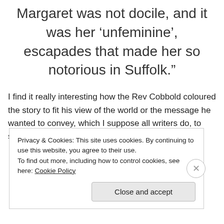Margaret was not docile, and it was her ‘unfeminine’, escapades that made her so notorious in Suffolk.”
I find it really interesting how the Rev Cobbold coloured the story to fit his view of the world or the message he wanted to convey, which I suppose all writers do, to some degree. I edited my version to
Privacy & Cookies: This site uses cookies. By continuing to use this website, you agree to their use.
To find out more, including how to control cookies, see here: Cookie Policy
Close and accept